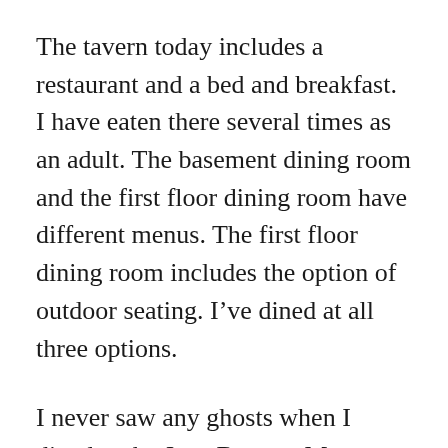The tavern today includes a restaurant and a bed and breakfast. I have eaten there several times as an adult. The basement dining room and the first floor dining room have different menus. The first floor dining room includes the option of outdoor seating. I've dined at all three options.
I never saw any ghosts when I dined at the Jean Bonnet. My sisters and I hope to see one each time that we visit.
Well, my husband and I finally booked a room on the second-floor bed and breakfast when we travelled to the area for a family event. We booked for a one night stay, which meant that I